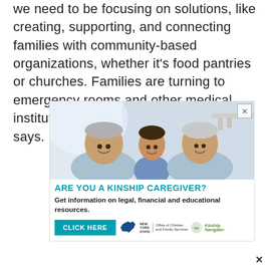we need to be focusing on solutions, like creating, supporting, and connecting families with community-based organizations, whether it's food pantries or churches. Families are turning to emergency rooms and other medical institutions to deal with hunger, Abiola says.
[Figure (photo): Advertisement showing an elderly couple and a young girl smiling together, for a kinship caregiver resource promotion by New York State Office of Children and Family Services / Kinship Navigator.]